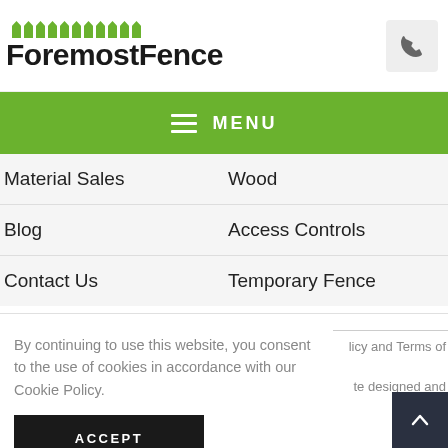[Figure (logo): ForemostFence logo with green fence pickets above bold black text]
[Figure (illustration): Phone icon button, gray square background]
MENU
Material Sales
Wood
Blog
Access Controls
Contact Us
Temporary Fence
By continuing to use this website, you consent to the use of cookies in accordance with our Cookie Policy.
licy and Terms of
te designed and
ACCEPT